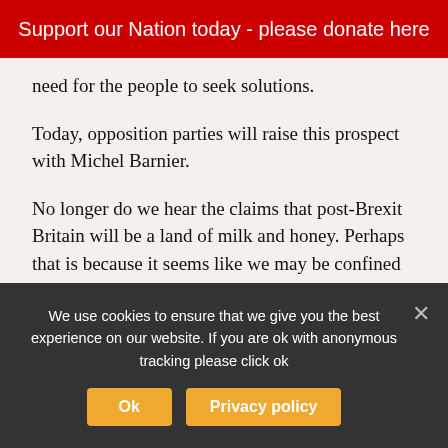Support our Nation today - please donate here
need for the people to seek solutions.
Today, opposition parties will raise this prospect with Michel Barnier.
No longer do we hear the claims that post-Brexit Britain will be a land of milk and honey. Perhaps that is because it seems like we may be confined to a diet of spam and potato peel pie post-Brexit.
The last vestige of a pro-Brexit argument seems to be that this was the ‘will of the people’.
We use cookies to ensure that we give you the best experience on our website. If you are ok with anonymous tracking please click ok